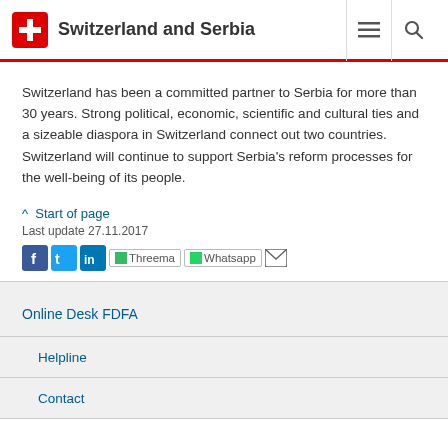Switzerland and Serbia
Switzerland has been a committed partner to Serbia for more than 30 years. Strong political, economic, scientific and cultural ties and a sizeable diaspora in Switzerland connect out two countries. Switzerland will continue to support Serbia's reform processes for the well-being of its people.
^ Start of page
Last update 27.11.2017
Online Desk FDFA
Helpline
Contact